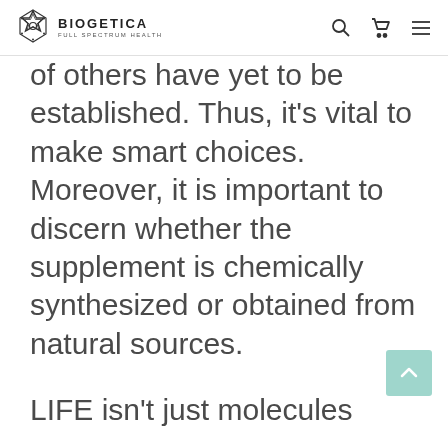BIOGETICA FULL SPECTRUM HEALTH
of others have yet to be established. Thus, it's vital to make smart choices. Moreover, it is important to discern whether the supplement is chemically synthesized or obtained from natural sources.
LIFE isn't just molecules